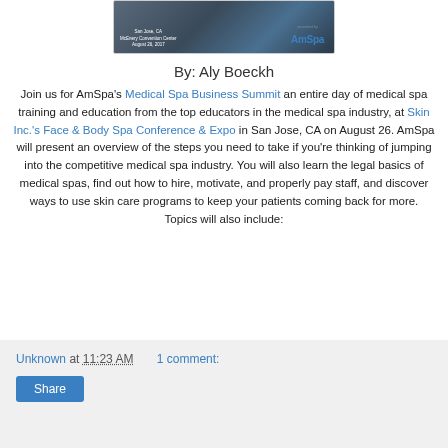[Figure (photo): Event banner image for AmSpa Medical Spa Business Summit at McEnery Convention Center, San Jose, CA, August 26, 2017, presented by AmSpa]
By: Aly Boeckh
Join us for AmSpa's Medical Spa Business Summit an entire day of medical spa training and education from the top educators in the medical spa industry, at Skin Inc.'s Face & Body Spa Conference & Expo in San Jose, CA on August 26. AmSpa will present an overview of the steps you need to take if you're thinking of jumping into the competitive medical spa industry. You will also learn the legal basics of medical spas, find out how to hire, motivate, and properly pay staff, and discover ways to use skin care programs to keep your patients coming back for more. Topics will also include:
Unknown at 11:23 AM   1 comment: